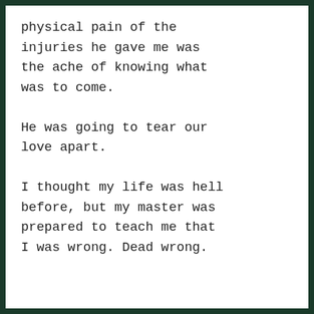physical pain of the injuries he gave me was the ache of knowing what was to come.
He was going to tear our love apart.
I thought my life was hell before, but my master was prepared to teach me that I was wrong. Dead wrong.